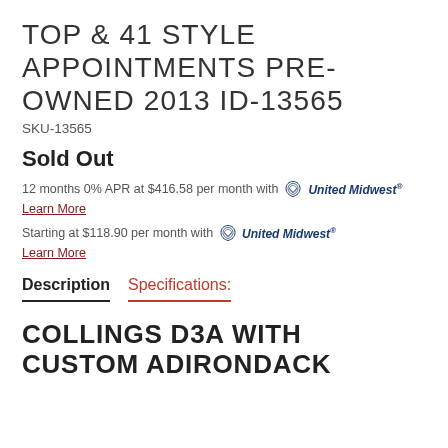TOP & 41 STYLE APPOINTMENTS PRE-OWNED 2013 ID-13565
SKU-13565
Sold Out
12 months 0% APR at $416.58 per month with United Midwest
Learn More
Starting at $118.90 per month with United Midwest
Learn More
Description    Specifications:
COLLINGS D3A WITH CUSTOM ADIRONDACK